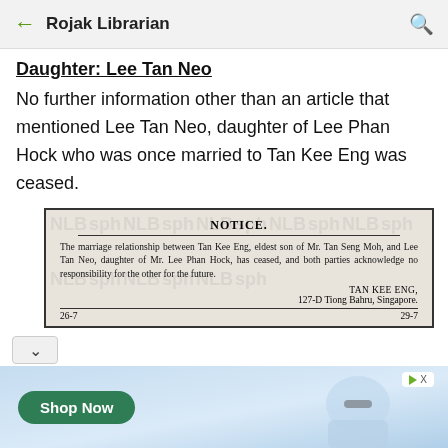← Rojak Librarian 🔍
Daughter: Lee Tan Neo
No further information other than an article that mentioned Lee Tan Neo, daughter of Lee Phan Hock who was once married to Tan Kee Eng was ceased.
[Figure (screenshot): Newspaper clipping showing a NOTICE about the marriage relationship between Tan Kee Eng, eldest son of Mr. Tan Seng Moh, and Lee Tan Neo, daughter of Mr. Lee Phan Hock, having ceased, with both parties acknowledging no responsibility for the other for the future. Signed TAN KEE ENG, 127-D Tiong Bahru, Singapore. Dates 26-7 and 29-7 at bottom.]
[Figure (photo): Advertisement banner at bottom showing Shop Now button and a woman with sunglasses looking up against a blue sky background.]